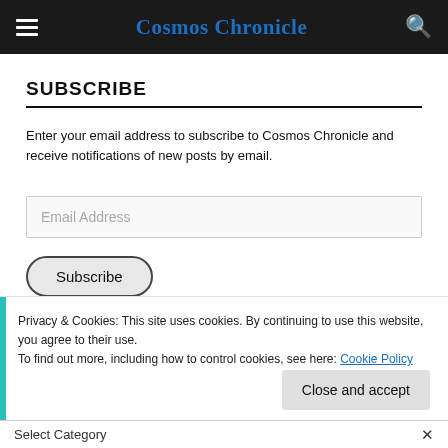Cosmos Chronicle
SUBSCRIBE
Enter your email address to subscribe to Cosmos Chronicle and receive notifications of new posts by email.
Email Address
Subscribe
Privacy & Cookies: This site uses cookies. By continuing to use this website, you agree to their use.
To find out more, including how to control cookies, see here: Cookie Policy
Close and accept
Select Category